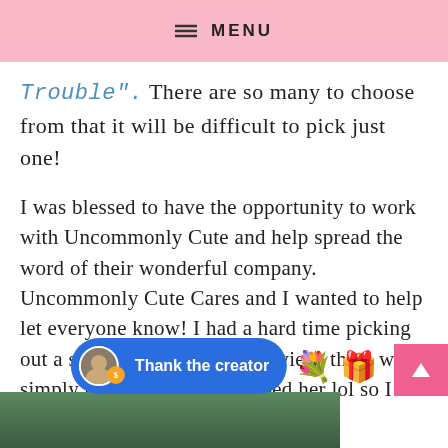MENU
Trouble". There are so many to choose from that it will be difficult to pick just one!
I was blessed to have the opportunity to work with Uncommonly Cute and help spread the word of their wonderful company. Uncommonly Cute Cares and I wanted to help let everyone know! I had a hard time picking out a shirt for Abby to help review, there were simply too many that described her lol so I let hubby help and here’s his pick:
[Figure (screenshot): Thank the creator button with blue pill-shaped background, avatar, coin badge, and emoji icons for flowers and gifts]
[Figure (photo): Partial photo visible at the bottom of the page]